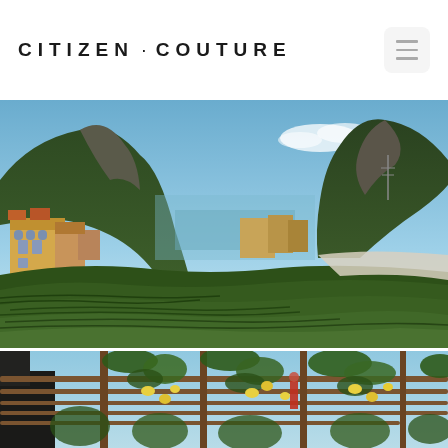CITIZEN · COUTURE
[Figure (photo): Scenic landscape photograph showing an Italian coastal mountain village with terraced green fields in the foreground, yellow buildings on the hillside, and dramatic rocky mountain cliffs rising on both sides under a blue sky with light clouds]
[Figure (photo): Close-up photograph looking up through a wooden pergola structure draped with lemon tree branches bearing yellow lemons and green foliage, with a person visible in dark clothing at left edge]